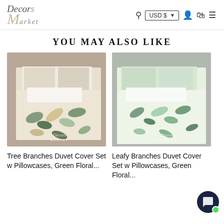Decors Market — USD $ — Search, Account, Cart, Menu
YOU MAY ALSO LIKE
[Figure (photo): Overhead view of a bed with Tree Branches botanical leaf pattern duvet cover and pillowcases in green, tan, and dark tones on white bedding]
[Figure (photo): Overhead view of a bed with Leafy Branches botanical leaf pattern duvet cover and pillowcases in soft green tones on white bedding]
Tree Branches Duvet Cover Set w Pillowcases, Green Floral...
Leafy Branches Duvet Cover Set w Pillowcases, Green Floral...